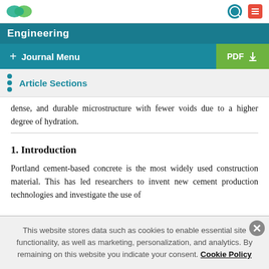Engineering
+ Journal Menu | PDF
Article Sections
dense, and durable microstructure with fewer voids due to a higher degree of hydration.
1. Introduction
Portland cement-based concrete is the most widely used construction material. This has led researchers to invent new cement production technologies and investigate the use of
This website stores data such as cookies to enable essential site functionality, as well as marketing, personalization, and analytics. By remaining on this website you indicate your consent. Cookie Policy